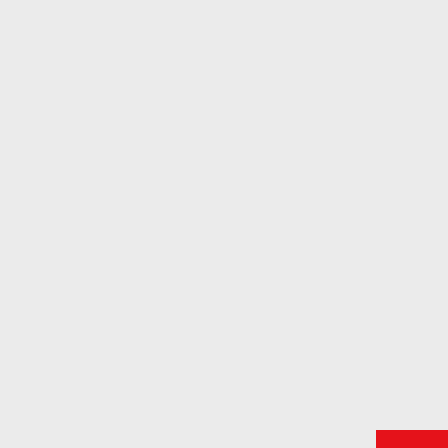[Figure (screenshot): Red button with white community/settings icon (people with gear), positioned top-right sidebar]
[Figure (screenshot): Blue button with white contact/person icon, positioned below the red button on the right sidebar]
Natalie Named A Premier League Community Captain
WE'RE proud to announce that Natalie Guy has been named a Premier League Community Captain in recognition of her incredible...
› Read More